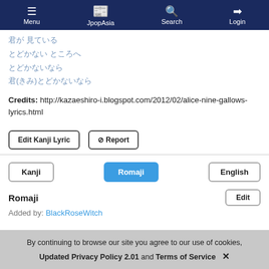Menu | JpopAsia | Search | Login
君が 見ている
とどかない ところへ
とどかないなら
君(きみ)とどかないなら
Credits: http://kazaeshiro-i.blogspot.com/2012/02/alice-nine-gallows-lyrics.html
Edit Kanji Lyric
⊘ Report
Kanji | Romaji | English
Romaji
Added by: BlackRoseWitch
By continuing to browse our site you agree to our use of cookies, Updated Privacy Policy 2.01 and Terms of Service ✕